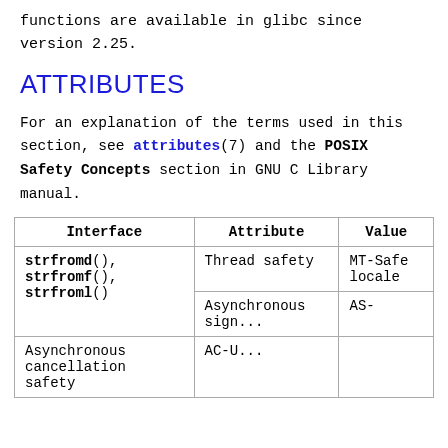functions are available in glibc since version 2.25.
ATTRIBUTES
For an explanation of the terms used in this section, see attributes(7) and the POSIX Safety Concepts section in GNU C Library manual.
| Interface | Attribute | Value |
| --- | --- | --- |
| strfromd(), strfromf(), strfroml() | Thread safety | MT-Safe locale |
| strfromd(), strfromf(), strfroml() | Asynchronous signal... | AS-... |
| Asynchronous cancellation safety | AC-U... |  |